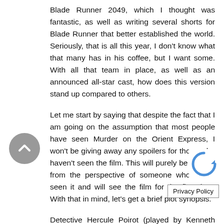Blade Runner 2049, which I thought was fantastic, as well as writing several shorts for Blade Runner that better established the world. Seriously, that is all this year, I don't know what that many has in his coffee, but I want some. With all that team in place, as well as an announced all-star cast, how does this version stand up compared to others.
Let me start by saying that despite the fact that I am going on the assumption that most people have seen Murder on the Orient Express, I won't be giving away any spoilers for those who haven't seen the film. This will purely be coming from the perspective of someone who hasn't seen it and will see the film for the first time. With that in mind, let's get a brief plot synopsis.
Detective Hercule Poirot (played by Kenneth Branagh) aims to take the Orient Express to make a meeting he has in France on time. While on the train he receives news from a man called Edward Ratchett that the is after him and he requires protection. However...